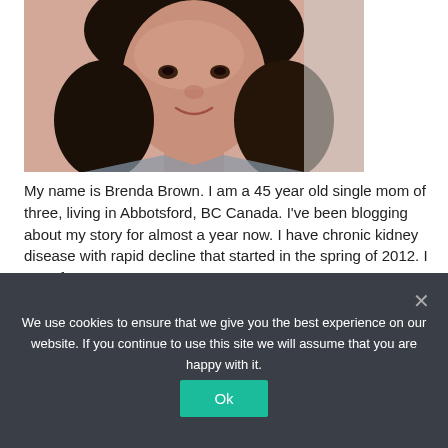[Figure (photo): Close-up photo of a woman with dark curly hair, smiling, wearing a patterned shirt. Photo is cropped at the neck/shoulder area.]
My name is Brenda Brown. I am a 45 year old single mom of three, living in Abbotsford, BC Canada. I've been blogging about my story for almost a year now. I have chronic kidney disease with rapid decline that started in the spring of 2012. I went from 28% …
Read More »
We use cookies to ensure that we give you the best experience on our website. If you continue to use this site we will assume that you are happy with it.
Ok